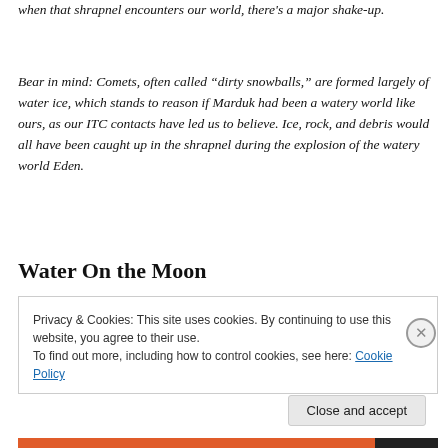when that shrapnel encounters our world, there's a major shake-up.
Bear in mind: Comets, often called “dirty snowballs,” are formed largely of water ice, which stands to reason if Marduk had been a watery world like ours, as our ITC contacts have led us to believe. Ice, rock, and debris would all have been caught up in the shrapnel during the explosion of the watery world Eden.
Water On the Moon
Privacy & Cookies: This site uses cookies. By continuing to use this website, you agree to their use.
To find out more, including how to control cookies, see here: Cookie Policy
Close and accept